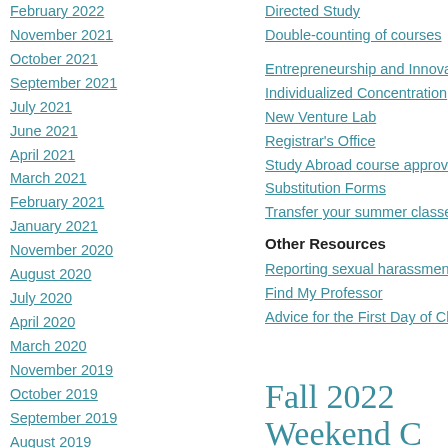February 2022
November 2021
October 2021
September 2021
July 2021
June 2021
April 2021
March 2021
February 2021
January 2021
November 2020
August 2020
July 2020
April 2020
March 2020
November 2019
October 2019
September 2019
August 2019
April 2019
March 2019
January 2019
Directed Study
Double-counting of courses
Entrepreneurship and Innovation Conc…
Individualized Concentration
New Venture Lab
Registrar's Office
Study Abroad course approval process…
Substitution Forms
Transfer your summer classes
Other Resources
Reporting sexual harassment and assa…
Find My Professor
Advice for the First Day of Class
Fall 2022 Weekend C…
April 18, 2022 in Uncategorized by pepper | No c…
The School of Business Administration classes. If you are a full-time undergrad… likely take one of these courses as par… majors.